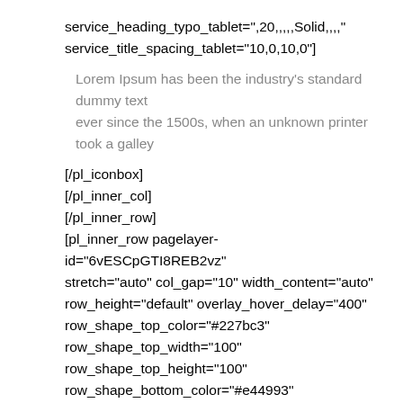service_heading_typo_tablet=",20,,,,,Solid,,,," service_title_spacing_tablet="10,0,10,0"]
Lorem Ipsum has been the industry’s standard dummy text ever since the 1500s, when an unknown printer took a galley
[/pl_iconbox]
[/pl_inner_col]
[/pl_inner_row]
[pl_inner_row pagelayer-id="6vESCpGTI8REB2vz" stretch="auto" col_gap="10" width_content="auto" row_height="default" overlay_hover_delay="400" row_shape_top_color="#227bc3" row_shape_top_width="100" row_shape_top_height="100" row_shape_bottom_color="#e44993" row_shape_bottom_width="100" row_shape_bottom_height="100" ele_padding="15px,0px,0px,0px"